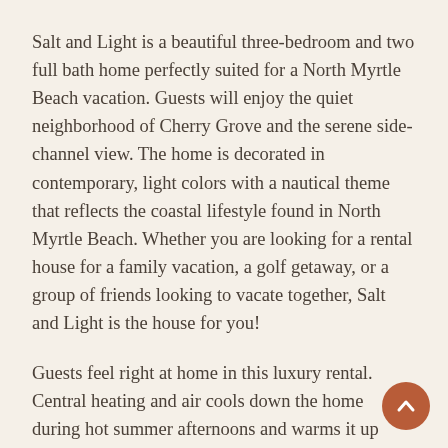Salt and Light is a beautiful three-bedroom and two full bath home perfectly suited for a North Myrtle Beach vacation. Guests will enjoy the quiet neighborhood of Cherry Grove and the serene side-channel view. The home is decorated in contemporary, light colors with a nautical theme that reflects the coastal lifestyle found in North Myrtle Beach. Whether you are looking for a rental house for a family vacation, a golf getaway, or a group of friends looking to vacate together, Salt and Light is the house for you!
Guests feel right at home in this luxury rental. Central heating and air cools down the home during hot summer afternoons and warms it up through the occasional cool night during a South Carolina winter. A comfortable couch and recliners in the living area invite you to sit and relax. Spend the evening watching a movie with the family. Don't